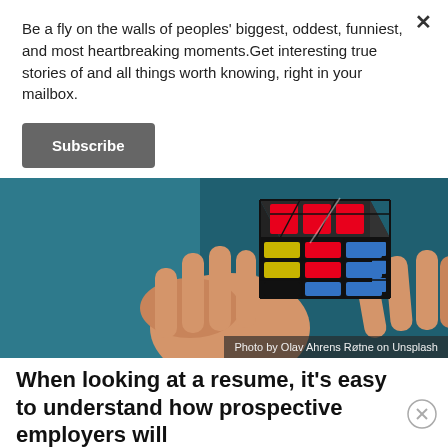Be a fly on the walls of peoples' biggest, oddest, funniest, and most heartbreaking moments.Get interesting true stories of and all things worth knowing, right in your mailbox.
Subscribe
[Figure (photo): Two hands holding a Rubik's cube against a teal/dark blue background. The cube shows red, blue, yellow, and white colored tiles. Photo credit: Photo by Olav Ahrens Rø​tne on Unsplash]
Photo by Olav Ahrens Rø​tne on Unsplash
When looking at a resume, it's easy to understand how prospective employers will
assume someone is very intelligent based on their education and past experience